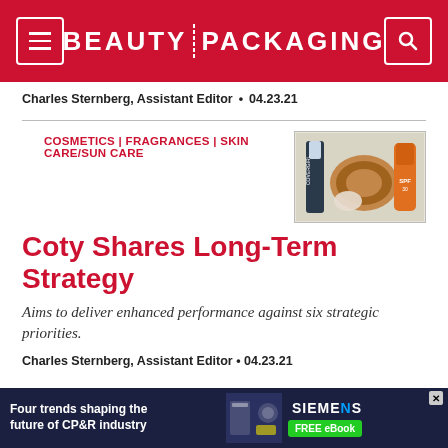BEAUTY PACKAGING
Charles Sternberg, Assistant Editor • 04.23.21
COSMETICS | FRAGRANCES | SKIN CARE/SUN CARE
[Figure (photo): Three beauty/cosmetic products: a mascara (CoverGirl), a compact powder with brush, and an orange sunscreen tube]
Coty Shares Long-Term Strategy
Aims to deliver enhanced performance against six strategic priorities.
Charles Sternberg, Assistant Editor • 04.23.21
[Figure (screenshot): Ad banner: Four trends shaping the future of CP&R industry — Siemens FREE eBook]